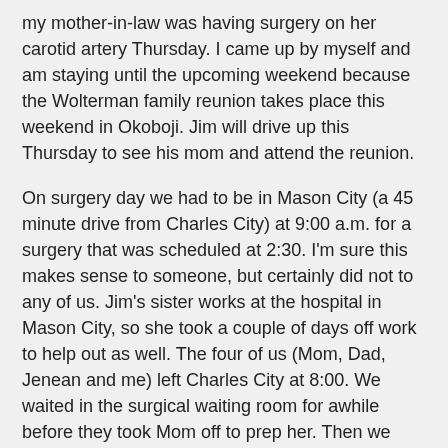my mother-in-law was having surgery on her carotid artery Thursday. I came up by myself and am staying until the upcoming weekend because the Wolterman family reunion takes place this weekend in Okoboji. Jim will drive up this Thursday to see his mom and attend the reunion.
On surgery day we had to be in Mason City (a 45 minute drive from Charles City) at 9:00 a.m. for a surgery that was scheduled at 2:30. I'm sure this makes sense to someone, but certainly did not to any of us. Jim's sister works at the hospital in Mason City, so she took a couple of days off work to help out as well. The four of us (Mom, Dad, Jenean and me) left Charles City at 8:00. We waited in the surgical waiting room for awhile before they took Mom off to prep her. Then we waited in a pre-pre-op room for a couple of hours before finally moving to the pre-op room around noon. By now Jenean's husband had joined us so we sent the guys down to the cafeteria to get some lunch while Jenean and I waited with Mom. They had tried three times in the pre-pre-op room to get her IV in and finally decided to let the nurse in the pre-op room have a go at it since she is "the best" at doing it. During her sixth attempt the anesthesiologist came